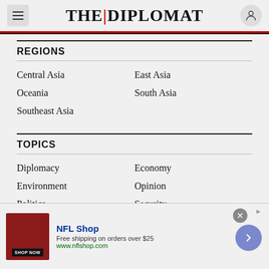THE DIPLOMAT
REGIONS
Central Asia
East Asia
Oceania
South Asia
Southeast Asia
TOPICS
Diplomacy
Economy
Environment
Opinion
Politics
Security
[Figure (other): NFL Shop advertisement banner with shop now button, free shipping offer, and navigation arrow]